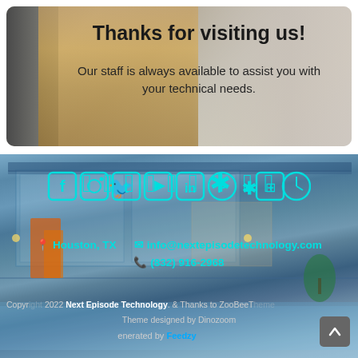[Figure (photo): Top banner with background photo of people and autumn trees, rounded rectangle. Contains overlaid text.]
Thanks for visiting us!
Our staff is always available to assist you with your technical needs.
[Figure (photo): Background photo of a modern house with glass walls, pool, and blue tones. Social media icons in cyan color overlaid.]
📍 Houston, TX   ✉ info@nextepisodetechnology.com   📞 (832) 916-2968
Copyright 2022 Next Episode Technology. & Thanks to ZooBeeT... Theme designed by Dinozoom Generated by Feedzy